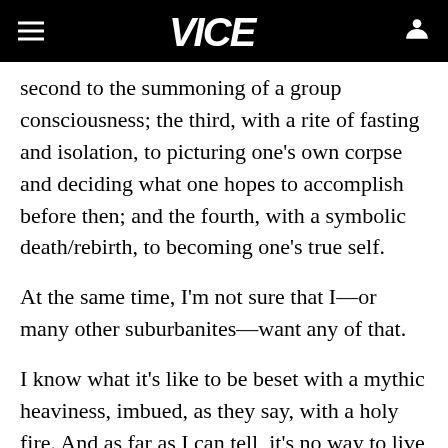VICE
second to the summoning of a group consciousness; the third, with a rite of fasting and isolation, to picturing one's own corpse and deciding what one hopes to accomplish before then; and the fourth, with a symbolic death/rebirth, to becoming one's true self.
At the same time, I'm not sure that I—or many other suburbanites—want any of that.
I know what it's like to be beset with a mythic heaviness, imbued, as they say, with a holy fire. And as far as I can tell, it's no way to live a